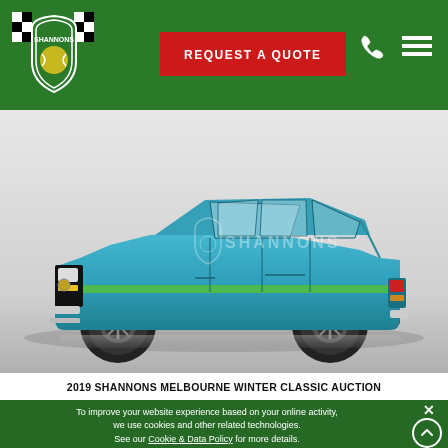[Figure (logo): Shannons insurance logo - green shield with checkered flags and tennis ball]
REQUEST A QUOTE
[Figure (photo): Classic blue Holden Torana sedan with green stripe, side-on view, on white/grey background with Shannons watermark]
2019 SHANNONS MELBOURNE WINTER CLASSIC AUCTION
To improve your website experience based on your online activity, we use cookies and other related technologies. See our Cookie & Data Policy for more details.